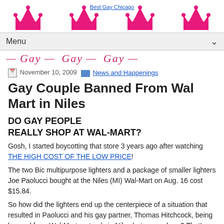Best Gay Chicago — site header with crown decorations and script Gay banner
November 10, 2009   News and Happenings
Gay Couple Banned From Wal Mart in Niles
DO GAY PEOPLE REALLY SHOP AT WAL-MART?
Gosh, I started boycotting that store 3 years ago after watching THE HIGH COST OF THE LOW PRICE!
The two Bic multipurpose lighters and a package of smaller lighters Joe Paolucci bought at the Niles (MI) Wal-Mart on Aug. 16 cost $15.84.
So how did the lighters end up the centerpiece of a situation that resulted in Paolucci and his gay partner, Thomas Hitchcock, being banned from Wal-Mart, not only in Niles but everywhere? That's the rest of the story.